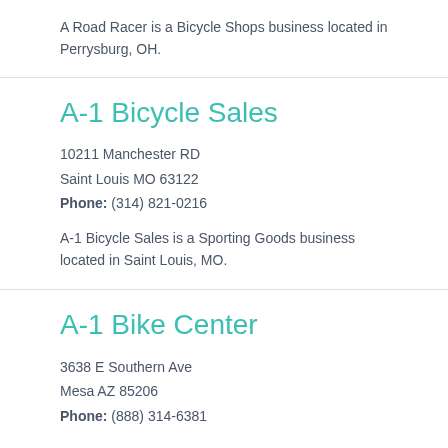A Road Racer is a Bicycle Shops business located in Perrysburg, OH.
A-1 Bicycle Sales
10211 Manchester RD
Saint Louis MO 63122
Phone: (314) 821-0216
A-1 Bicycle Sales is a Sporting Goods business located in Saint Louis, MO.
A-1 Bike Center
3638 E Southern Ave
Mesa AZ 85206
Phone: (888) 314-6381